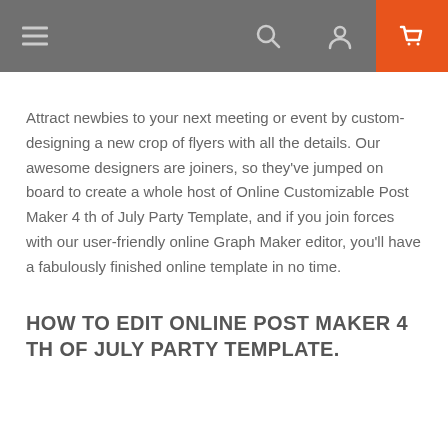Navigation bar with hamburger menu, search icon, user icon, and cart icon
Attract newbies to your next meeting or event by custom-designing a new crop of flyers with all the details. Our awesome designers are joiners, so they've jumped on board to create a whole host of Online Customizable Post Maker 4 th of July Party Template, and if you join forces with our user-friendly online Graph Maker editor, you'll have a fabulously finished online template in no time.
HOW TO EDIT ONLINE POST MAKER 4 TH OF JULY PARTY TEMPLATE.